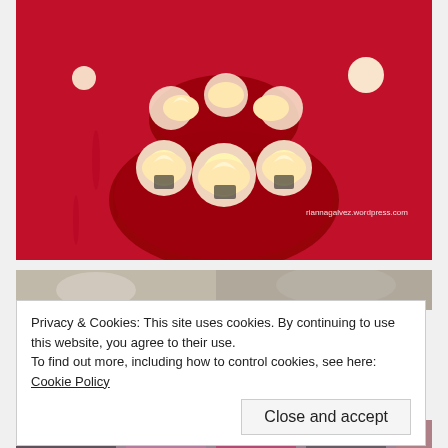[Figure (photo): Overhead view of cupcakes with lit candles arranged in a circular display on a red tablecloth. Watermark text reads 'riannagalvez.wordpress.com'.]
[Figure (photo): Partial view of a second photograph showing people, partially obscured by cookie consent banner.]
Privacy & Cookies: This site uses cookies. By continuing to use this website, you agree to their use.
To find out more, including how to control cookies, see here: Cookie Policy
Close and accept
[Figure (photo): Partial view of a third photograph at bottom of page showing people.]